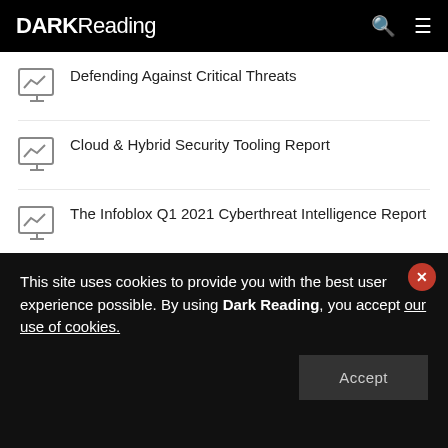DARK Reading
Defending Against Critical Threats
Cloud & Hybrid Security Tooling Report
The Infoblox Q1 2021 Cyberthreat Intelligence Report
State of the Intelligent Information Management Industry in 2021
More Reports
This site uses cookies to provide you with the best user experience possible. By using Dark Reading, you accept our use of cookies.